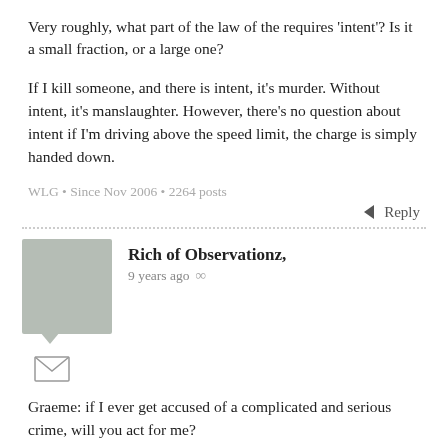Very roughly, what part of the law of the requires 'intent'? Is it a small fraction, or a large one?
If I kill someone, and there is intent, it's murder. Without intent, it's manslaughter. However, there's no question about intent if I'm driving above the speed limit, the charge is simply handed down.
WLG • Since Nov 2006 • 2264 posts
Reply
Rich of Observationz, 9 years ago
Graeme: if I ever get accused of a complicated and serious crime, will you act for me?
I would disagree on the grounds that:
- Based on the documents released, the police and GCSB appear to have had a "don't ask, don't tell" attitude to Dotcom's residence status. Given that it was a core part of GCSB's legal unpinning that they did not spy on NZ residents, this failure could be